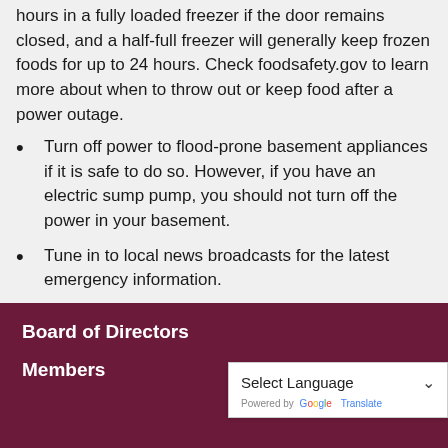hours in a fully loaded freezer if the door remains closed, and a half-full freezer will generally keep frozen foods for up to 24 hours. Check foodsafety.gov to learn more about when to throw out or keep food after a power outage.
Turn off power to flood-prone basement appliances if it is safe to do so. However, if you have an electric sump pump, you should not turn off the power in your basement.
Tune in to local news broadcasts for the latest emergency information.
Board of Directors
Members